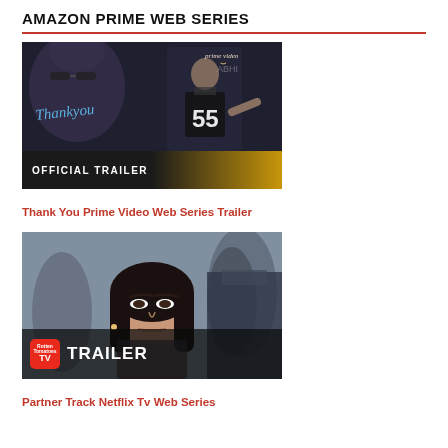AMAZON PRIME WEB SERIES
[Figure (photo): Thumbnail image for 'Thank You Prime Video Web Series Trailer' showing a man in a sports jersey number 55 running, with a large face in background and cursive 'Thank you' text. Bottom bar reads OFFICIAL TRAILER with gradient to gold. Prime video logo top right.]
Thank You Prime Video Web Series Trailer
[Figure (photo): Thumbnail image for 'Partner Track Netflix Tv Web Series' showing an Asian woman in a professional setting. Bottom overlay shows a red TV badge and white TRAILER text.]
Partner Track Netflix Tv Web Series